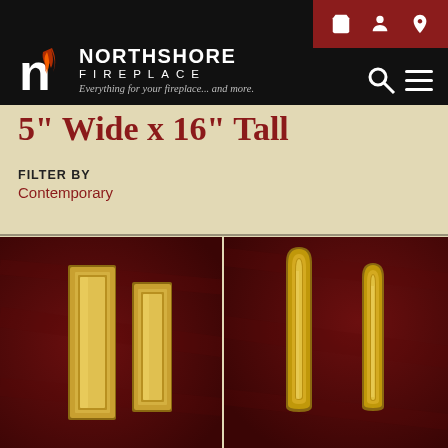Northshore Fireplace — Everything for your fireplace... and more.
5" Wide x 16" Tall
FILTER BY
Contemporary
[Figure (photo): Two gold/brass rectangular fireplace door pulls with stepped/layered profile on dark red background]
[Figure (photo): Two gold/brass arch-top fireplace door pulls with rounded top and stepped/layered profile on dark red background]